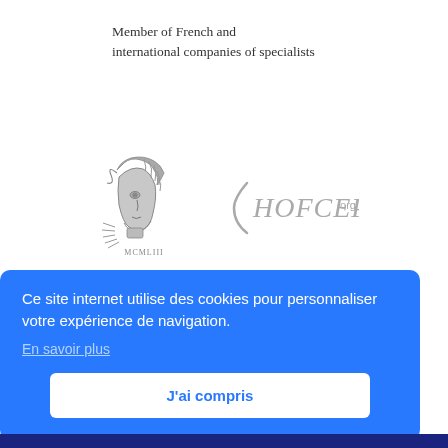Member of French and international companies of specialists
[Figure (logo): Two logos side by side: left is a classical Minerva/Athena head profile with decorative helmet and text MCMLIII below, rendered in gray; right is the HOFCEP.org logo in gray cursive style.]
Ce site internet utilise des cookies pour personnaliser votre expérience de navigation.
En savoir plus
J'ai compris